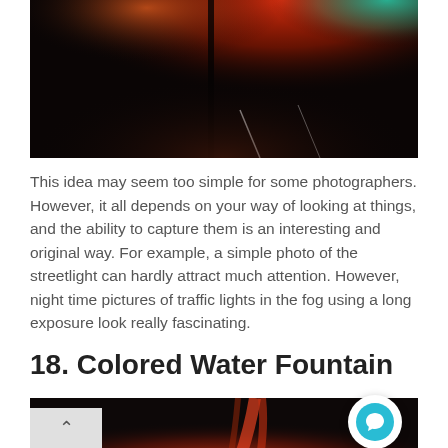[Figure (photo): Night photography showing colorful traffic lights and light streaks in fog against a dark background. Red, orange and teal light beams visible.]
This idea may seem too simple for some photographers. However, it all depends on your way of looking at things, and the ability to capture them is an interesting and original way. For example, a simple photo of the streetlight can hardly attract much attention. However, night time pictures of traffic lights in the fog using a long exposure look really fascinating.
18. Colored Water Fountain
[Figure (photo): Bottom cropped photo showing what appears to be a colored water fountain with orange/red hues against a dark background.]